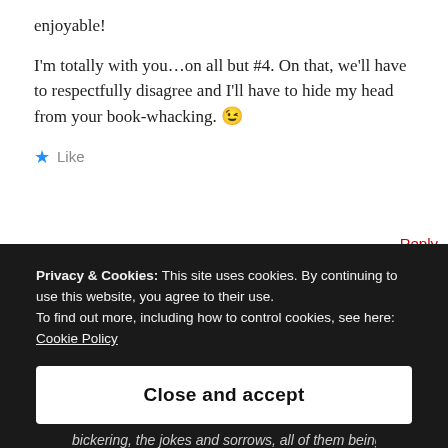enjoyable!
I'm totally with you…on all but #4. On that, we'll have to respectfully disagree and I'll have to hide my head from your book-whacking. 😉
★ Like
Reply
Privacy & Cookies: This site uses cookies. By continuing to use this website, you agree to their use.
To find out more, including how to control cookies, see here:
Cookie Policy
Close and accept
bickering, the jokes and sorrows, all of them being there